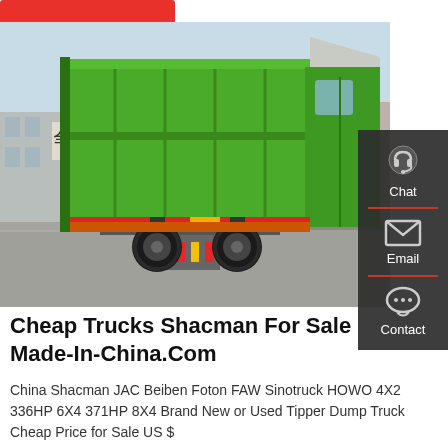[Figure (photo): Green Shacman dump truck (tipper truck) photographed from the rear-left angle in a yard, with Chinese signage visible in the background and a red car parked nearby.]
Cheap Trucks Shacman For Sale Made-In-China.Com
China Shacman JAC Beiben Foton FAW Sinotruck HOWO 4X2 336HP 6X4 371HP 8X4 Brand New or Used Tipper Dump Truck Cheap Price for Sale US $